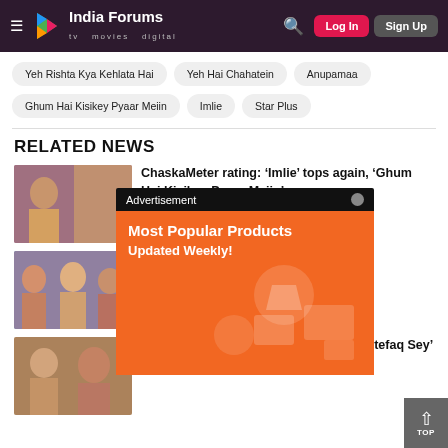India Forums - tv movies digital | Log In | Sign Up
Yeh Rishta Kya Kehlata Hai
Yeh Hai Chahatein
Anupamaa
Ghum Hai Kisikey Pyaar Meiin
Imlie
Star Plus
RELATED NEWS
[Figure (photo): TV drama scene with couple]
ChaskaMeter rating: ‘Imlie’ tops again, ‘Ghum Hai Kisikey Pyaar Meiin’ ...
[Figure (photo): TV drama scene with group]
…amaa’ …u Hain’ ...
[Figure (photo): TV drama scene]
ChaskaMeter Week 25: ‘Kabhi Kabhie Ittefaq Sey’ out of top 5; Pandya ...
[Figure (other): Advertisement overlay: Most Popular Products Updated Weekly!]